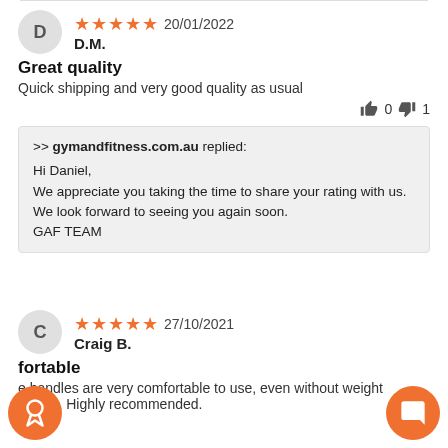D   ★★★★★  20/01/2022
D.M.
Great quality
Quick shipping and very good quality as usual
👍 0  👎 1
>> gymandfitness.com.au replied:
Hi Daniel,
We appreciate you taking the time to share your rating with us.
We look forward to seeing you again soon.
GAF TEAM
C   ★★★★★  27/10/2021
Craig B.
fortable
e handles are very comfortable to use, even without weight gloves. Highly recommended.